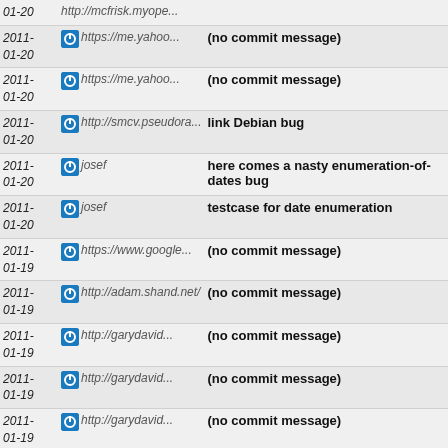| Date | User | Message |
| --- | --- | --- |
| 2011-01-20 | http://mcfrisk.myope... | (no commit message) |
| 2011-01-20 | https://me.yahoo... | (no commit message) |
| 2011-01-20 | https://me.yahoo... | (no commit message) |
| 2011-01-20 | http://smcv.pseudora... | link Debian bug |
| 2011-01-20 | josef | here comes a nasty enumeration-of-dates bug |
| 2011-01-20 | josef | testcase for date enumeration |
| 2011-01-19 | https://www.google... | (no commit message) |
| 2011-01-19 | http://adam.shand.net/ | (no commit message) |
| 2011-01-19 | http://garydavid... | (no commit message) |
| 2011-01-19 | http://garydavid... | (no commit message) |
| 2011-01-19 | http://garydavid... | (no commit message) |
| 2011-01-19 | http://garydavid... | (no commit message) |
| 2011-01-19 | http://garydavid... | (no commit message) |
| 2011- |  | Added a comment: Fixed. |